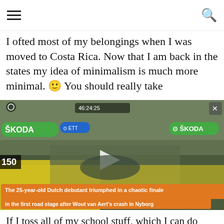I ofted most of my belongings when I was moved to Costa Rica. Now that I am back in the states my idea of minimalism is much more minimal. 🙂 You should really take
[Figure (screenshot): Video screenshot of Tour de France cycling race finish with SKODA branding overlays, play button, timing display showing 46:24:25, rider positions on right side, and orange caption text: 'The 25-year-old Dutch debutant triumphed in a chaotic finale in the first road stage after Wout van Aert's crash in Nyborg']
If I toss all of my school stuff, which I can do after june (yea.) I can fit my life in 7 boxes, not including my bikes, and 2 pieces of furnitune. I agree having a small amount of stuff is great since its just less things to manage. I have been